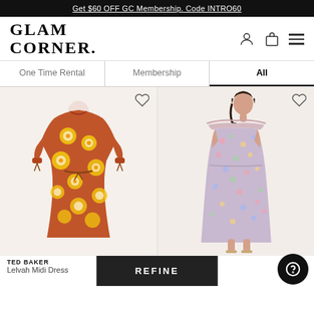Get $60 OFF GC Membership. Code INTRO60
[Figure (logo): GLAM CORNER. logo in serif bold font, top left]
[Figure (illustration): Profile, shopping bag, and hamburger menu icons top right]
One Time Rental | Membership | All (active tab)
[Figure (photo): Ted Baker floral midi dress with long sleeves and yellow flower print on rust/red background, hanging product shot]
[Figure (photo): Spell off-shoulder floral midi dress worn by model, pastel multi-color floral print, ruffled neckline]
TED BAKER
Lelvah Midi Dress
SPELL